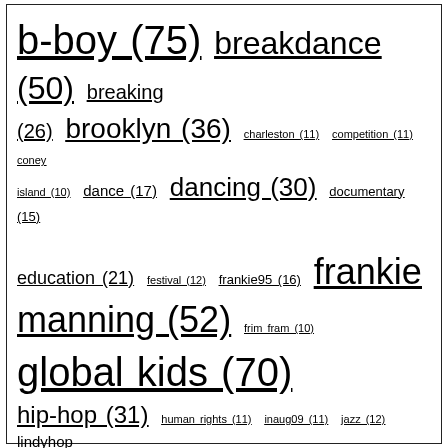[Figure (infographic): Tag cloud showing various tags with their counts indicated in parentheses. Tags are sized proportionally to their counts. Tags include: b-boy (75), breakdance (50), breaking (26), brooklyn (36), charleston (11), competition (11), coney island (10), dance (17), dancing (30), documentary (15), education (21), festival (12), frankie95 (16), frankie manning (52), frim fram (10), global kids (70), hip-hop (31), human rights (11), inaug09 (11), jazz (12), lindyhop (17), lindy hop (141), lowcarb (18), lxd (11), macarthur foundation (12), machinima (22), memorial (14), mermaidparade (22), mtv (13), performance (16), pmt (10), popping (11), quaker (27), recipe (38), rockclimbing (16), second life (81), shim sham (15), skating (38), soul music (14), swing (51), swing dance (45), united nations (10), virtual world (19), virtual worlds (shown at bottom).]